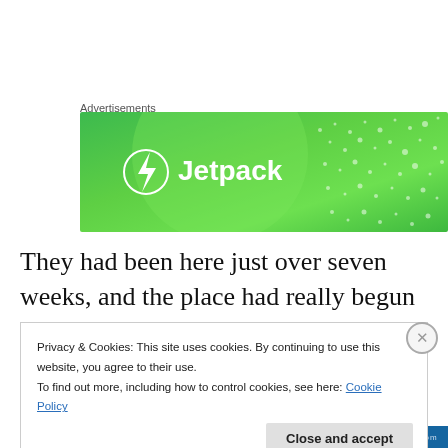Advertisements
[Figure (illustration): Jetpack advertisement banner with green gradient background, large light green circle, white dots pattern, and Jetpack logo with lightning bolt icon in white circle.]
They had been here just over seven weeks, and the place had really begun to feel like home. She had even begun to see Kalen in a different light. He wasn't the fifteen year old kid she'd met three years ago. He was kind, thoughtful
Privacy & Cookies: This site uses cookies. By continuing to use this website, you agree to their use.
To find out more, including how to control cookies, see here: Cookie Policy
Close and accept